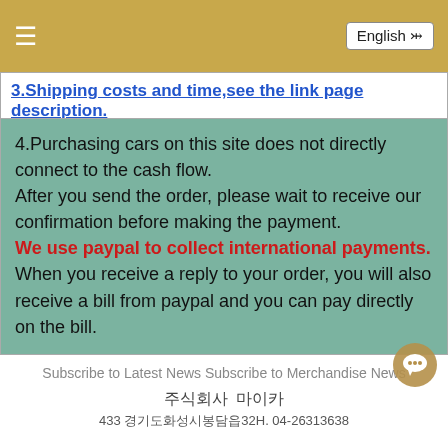☰  English ▾
3.Shipping costs and time,see the link page description.
4.Purchasing cars on this site does not directly connect to the cash flow.
After you send the order, please wait to receive our confirmation before making the payment.
We use paypal to collect international payments.
When you receive a reply to your order, you will also receive a bill from paypal and you can pay directly on the bill.
ADD TO SHOPPING LIST   CHECKOUT
Subscribe to Latest News Subscribe to Merchandise News
주식회사  마이카
433 경기도화성시봉담읍32H. 04-26313638